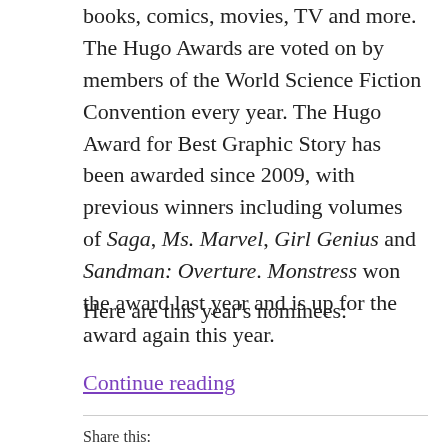books, comics, movies, TV and more. The Hugo Awards are voted on by members of the World Science Fiction Convention every year. The Hugo Award for Best Graphic Story has been awarded since 2009, with previous winners including volumes of Saga, Ms. Marvel, Girl Genius and Sandman: Overture. Monstress won the award last year and is up for the award again this year.
Here are this year's nominees:
Continue reading
Share this: